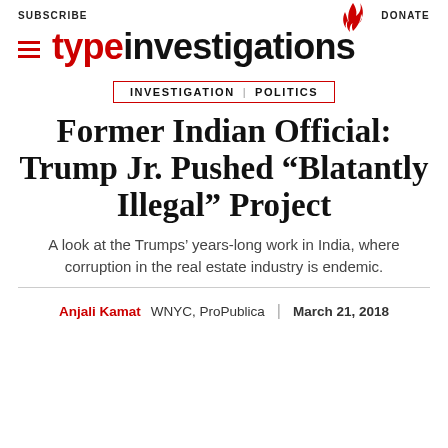SUBSCRIBE   DONATE
[Figure (logo): Type Investigations logo with hamburger menu icon, red flame above the letter i, and bold logotype reading typeinvestigations]
INVESTIGATION | POLITICS
Former Indian Official: Trump Jr. Pushed “Blatantly Illegal” Project
A look at the Trumps’ years-long work in India, where corruption in the real estate industry is endemic.
Anjali Kamat   WNYC, ProPublica   March 21, 2018